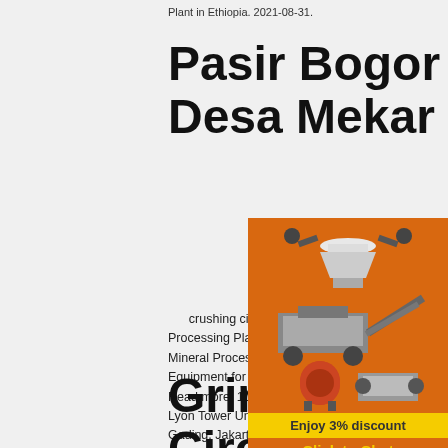Plant in Ethiopia. 2021-08-31.
Pasir Bogor Rt01 Rw05 Desa Mekar Saluyu
crushing circuit mineral processing ethio... Processing Plant & Mineral Processing Equip... Mineral Processing Plant & Mineral Processin... Equipment for India Mineral ... of any crushing... Read more. 10 hp kompresor. Add: MOI Fren... Lyon Tower Unit 29J Jl. Boolevard Barat, Kela... Gading, Jakarta Utara, 10640 ...
[Figure (illustration): Orange sidebar advertisement showing mining/crushing equipment images, Enjoy 3% discount banner, Click to Chat button, Enquiry section, and email limingjlmofen@sina.com]
Grinding Open A... Circuit Mining In... Mineral Processing